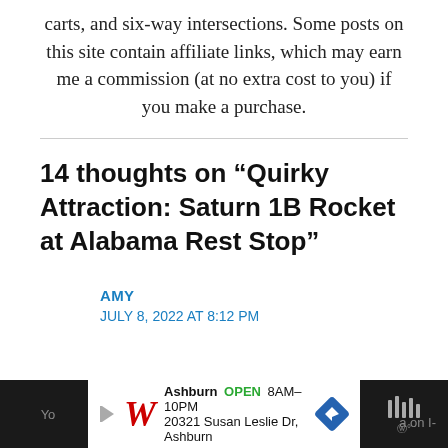carts, and six-way intersections. Some posts on this site contain affiliate links, which may earn me a commission (at no extra cost to you) if you make a purchase.
14 thoughts on “Quirky Attraction: Saturn 1B Rocket at Alabama Rest Stop”
AMY
JULY 8, 2022 AT 8:12 PM
[Figure (other): Advertisement bar at bottom: Walgreens ad showing Ashburn location, OPEN 8AM-10PM, 20321 Susan Leslie Dr, Ashburn, with navigation icon. Dark overlays on left and right sides with partial text.]